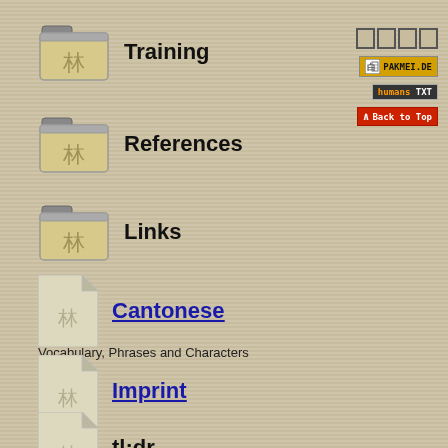Training
References
Links
Cantonese
Vocabulary, Phrases and Characters
Imprint
tl;dr
[Figure (other): Sidebar badges: character boxes, pakmei.de badge, humans.txt badge, Back to Top badge]